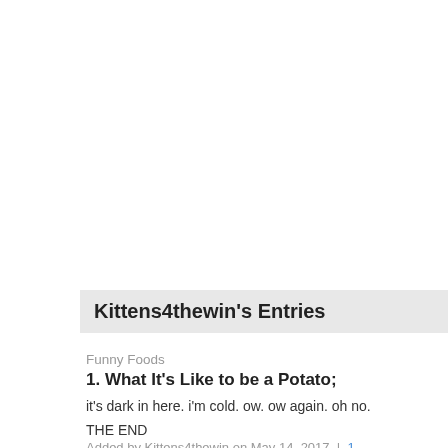Kittens4thewin's Entries
Funny Foods
1. What It's Like to be a Potato;
it's dark in here. i'm cold. ow. ow again. oh no.
THE END
Added by Kittens4thewin on May 14, 2017  |  1